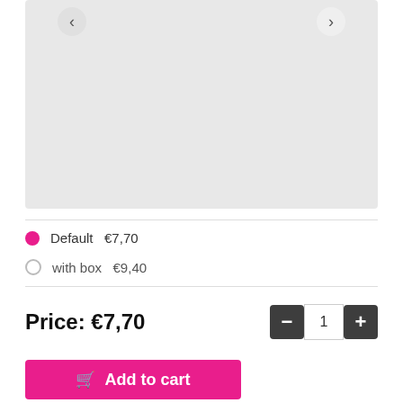[Figure (screenshot): Product image carousel area with left and right navigation arrows, light gray background placeholder]
Default  €7,70
with box  €9,40
Price: €7,70
1
Add to cart